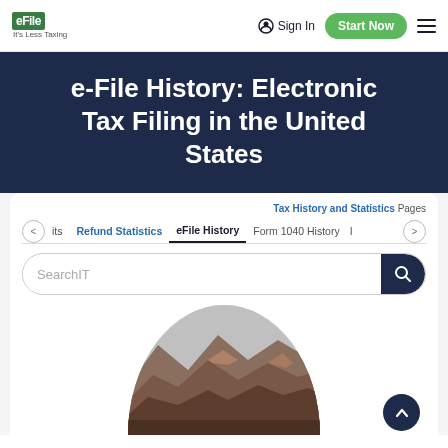eFile It's Less Taxing | Sign In | Start Now
e-File History: Electronic Tax Filing in the United States
Tax History and Statistics Pages
its | Refund Statistics | eFile History | Form 1040 History | I
SearchIT
[Figure (photo): Circular cropped photo of a mountain range with reddish-brown terrain and a light sky]